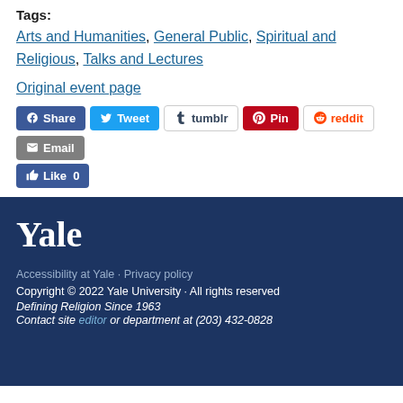Tags:
Arts and Humanities, General Public, Spiritual and Religious, Talks and Lectures
Original event page
[Figure (infographic): Social sharing buttons: Share (Facebook), Tweet (Twitter), tumblr, Pin (Pinterest), reddit, Email, Like 0 (Facebook Like)]
Yale
Accessibility at Yale · Privacy policy
Copyright © 2022 Yale University · All rights reserved
Defining Religion Since 1963
Contact site editor or department at (203) 432-0828